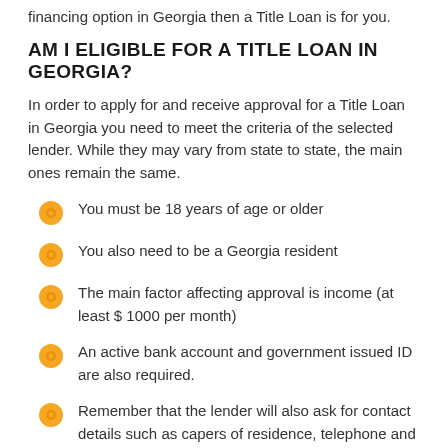financing option in Georgia then a Title Loan is for you.
AM I ELIGIBLE FOR A TITLE LOAN IN GEORGIA?
In order to apply for and receive approval for a Title Loan in Georgia you need to meet the criteria of the selected lender. While they may vary from state to state, the main ones remain the same.
You must be 18 years of age or older
You also need to be a Georgia resident
The main factor affecting approval is income (at least $ 1000 per month)
An active bank account and government issued ID are also required.
Remember that the lender will also ask for contact details such as capers of residence, telephone and email.
Remember that in addition to the basic documents for the approval of the application in Georgia, you must also provide